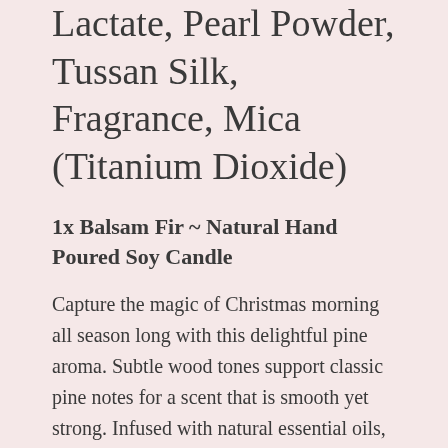Lactate, Pearl Powder, Tussan Silk, Fragrance, Mica (Titanium Dioxide)
1x Balsam Fir ~ Natural Hand Poured Soy Candle
Capture the magic of Christmas morning all season long with this delightful pine aroma. Subtle wood tones support classic pine notes for a scent that is smooth yet strong. Infused with natural essential oils, including Patchouli, Cedarwood, Fir Needle and Spearmint.
1x Fraser Fir ~ Room Spray